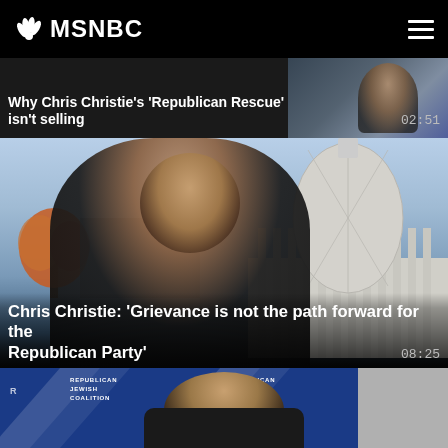MSNBC
Why Chris Christie's 'Republican Rescue' isn't selling  02:51
[Figure (screenshot): Video thumbnail showing MSNBC broadcast with Chris Christie being interviewed in front of US Capitol building background]
Chris Christie: 'Grievance is not the path forward for the Republican Party'  08:25
[Figure (screenshot): Video thumbnail showing Chris Christie at Republican Jewish Coalition event with blue backdrop and logos]